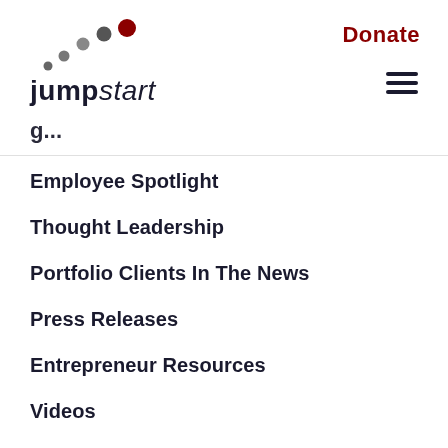jumpstart | Donate
Employee Spotlight
Thought Leadership
Portfolio Clients In The News
Press Releases
Entrepreneur Resources
Videos
Podcasts
Insight
Startup Scaleup